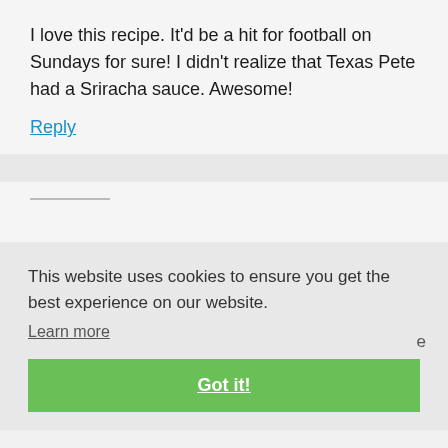I love this recipe. It'd be a hit for football on Sundays for sure! I didn't realize that Texas Pete had a Sriracha sauce. Awesome!
Reply
This website uses cookies to ensure you get the best experience on our website.
Learn more
Got it!
McDonald's Southwest chicken salad